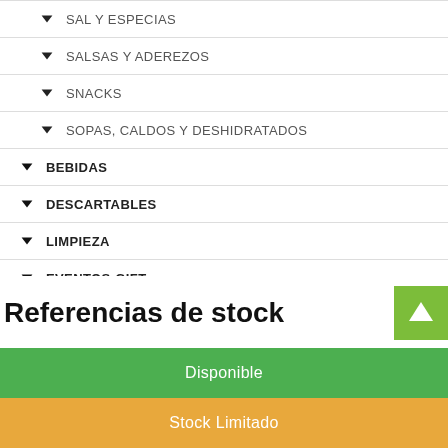SAL Y ESPECIAS
SALSAS Y ADEREZOS
SNACKS
SOPAS, CALDOS Y DESHIDRATADOS
BEBIDAS
DESCARTABLES
LIMPIEZA
EVENTOS-GIFT
BAZAR
Referencias de stock
Disponible
Stock Limitado